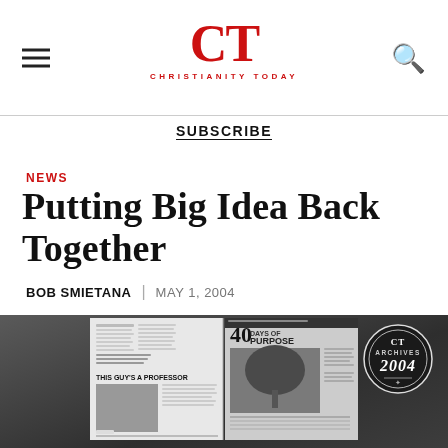CT CHRISTIANITY TODAY
SUBSCRIBE
NEWS
Putting Big Idea Back Together
BOB SMIETANA | MAY 1, 2004
[Figure (photo): Black and white image showing a magazine spread. Left page has an article with headline 'THIS GUY'S A PROFESSOR' with a photo. Right page shows '40 DAYS OF PURPOSE' magazine cover with a tree image. A circular CT Archives 2004 badge overlays the top right corner of the photo.]